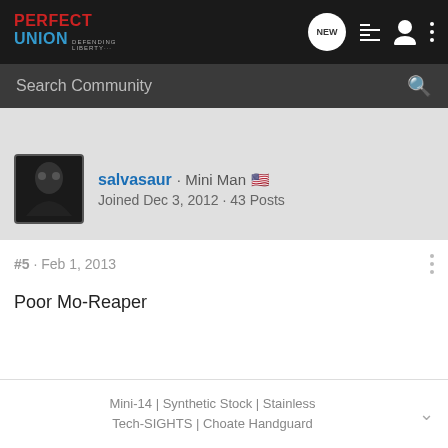Perfect Union · DEFENDING LIBERTY
Search Community
salvasaur · Mini Man 🇺🇸
Joined Dec 3, 2012 · 43 Posts
#5 · Feb 1, 2013
Poor Mo-Reaper
Mini-14 | Synthetic Stock | Stainless Tech-SIGHTS | Choate Handguard